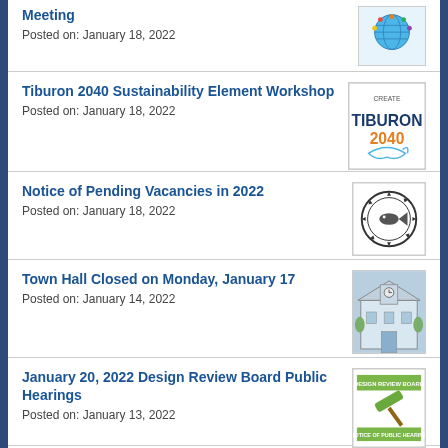Meeting
Posted on: January 18, 2022
Tiburon 2040 Sustainability Element Workshop
Posted on: January 18, 2022
Notice of Pending Vacancies in 2022
Posted on: January 18, 2022
Town Hall Closed on Monday, January 17
Posted on: January 14, 2022
January 20, 2022 Design Review Board Public Hearings
Posted on: January 13, 2022
Upcoming Disaster Advisory Council Meetings
Posted on: January 13, 2022